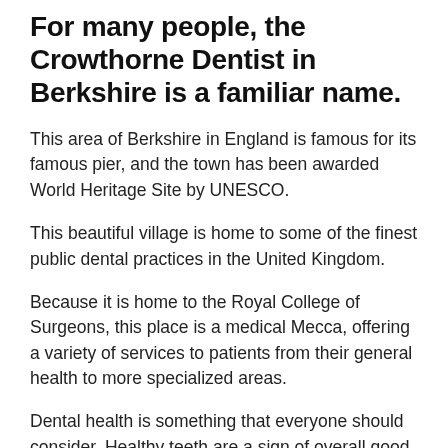For many people, the Crowthorne Dentist in Berkshire is a familiar name.
This area of Berkshire in England is famous for its famous pier, and the town has been awarded World Heritage Site by UNESCO.
This beautiful village is home to some of the finest public dental practices in the United Kingdom.
Because it is home to the Royal College of Surgeons, this place is a medical Mecca, offering a variety of services to patients from their general health to more specialized areas.
Dental health is something that everyone should consider. Healthy teeth are a sign of overall good health. In fact, a lack of healthy teeth can indicate serious underlying